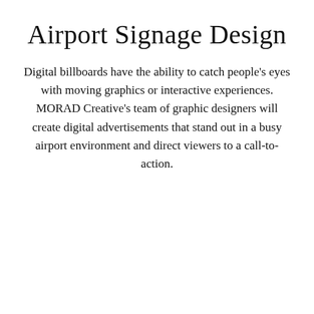Airport Signage Design
Digital billboards have the ability to catch people's eyes with moving graphics or interactive experiences. MORAD Creative's team of graphic designers will create digital advertisements that stand out in a busy airport environment and direct viewers to a call-to-action.